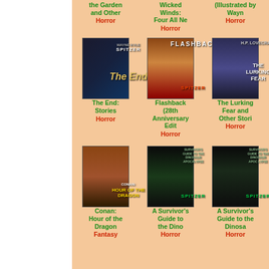the Garden and Other
Horror
Wicked Winds: Four All Ne
Horror
(Illustrated by Wayn
Horror
[Figure (photo): Book cover: The End: Stories by Spitzer, dark city building]
The End: Stories
Horror
[Figure (photo): Book cover: Flashback 28th Anniversary Edition by Spitzer]
Flashback (28th Anniversary Edit
Horror
[Figure (photo): Book cover: The Lurking Fear and Other Stories, Lovecraft]
The Lurking Fear and Other Stori
Horror
[Figure (photo): Book cover: Conan: Hour of the Dragon]
Conan: Hour of the Dragon
Fantasy
[Figure (photo): Book cover: A Survivor's Guide to the Dinosaur Apocalypse by Spitzer]
A Survivor's Guide to the Dino
Horror
[Figure (photo): Book cover: A Survivor's Guide to the Dinosaur Apocalypse 2 by Spitzer]
A Survivor's Guide to the Dinosa
Horror